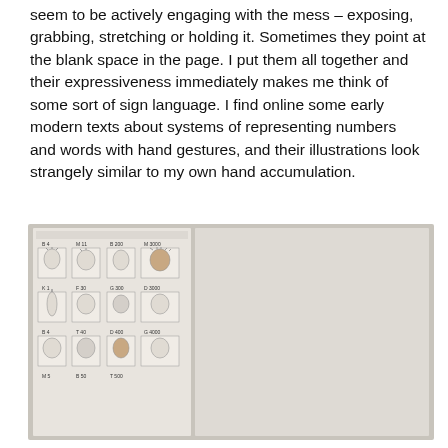seem to be actively engaging with the mess – exposing, grabbing, stretching or holding it. Sometimes they point at the blank space in the page. I put them all together and their expressiveness immediately makes me think of some sort of sign language. I find online some early modern texts about systems of representing numbers and words with hand gestures, and their illustrations look strangely similar to my own hand accumulation.
[Figure (photo): A photograph showing two pages of early modern illustrated manuscripts or books depicting hand gestures used to represent numbers and words. The left page shows rows of detailed hand gesture illustrations in a grid layout with labels. The right page shows a larger grid table of hand gesture illustrations with various numeric and text labels, including figures of people at the bottom row.]